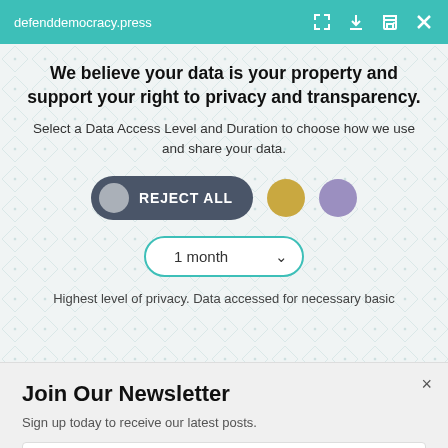defenddemocracy.press
We believe your data is your property and support your right to privacy and transparency.
Select a Data Access Level and Duration to choose how we use and share your data.
[Figure (infographic): Reject All button (dark grey pill button with grey circle icon and white bold text), gold circle button, purple circle button]
[Figure (screenshot): Dropdown selector showing '1 month' with teal border and chevron arrow]
Highest level of privacy. Data accessed for necessary basic
Join Our Newsletter
Sign up today to receive our latest posts.
Enter your Email
Subscribe Now